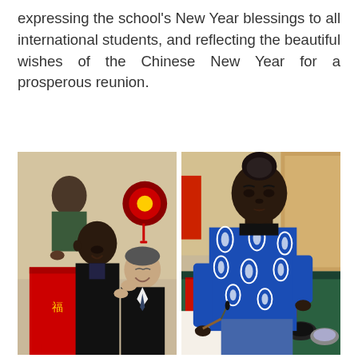expressing the school's New Year blessings to all international students, and reflecting the beautiful wishes of the Chinese New Year for a prosperous reunion.
[Figure (photo): Left photo: An older man in a black suit smiling and helping a young Black student put on a red garment, with Chinese New Year decorations visible in the background.]
[Figure (photo): Right photo: A young Black woman in a blue patterned jacket leaning over a table practicing Chinese calligraphy with a brush on red paper, with ink and supplies on the table.]